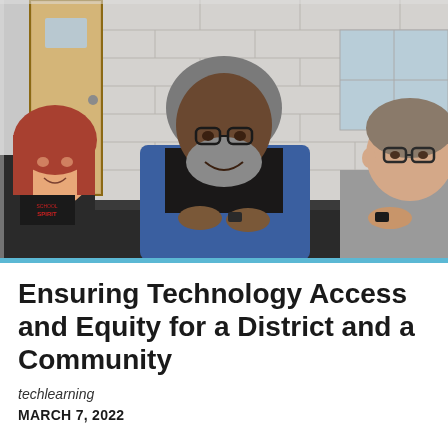[Figure (photo): Three people sitting around a table in a meeting room with white brick walls. A woman with red hair on the left wearing a dark t-shirt, a man in the center with gray hair and beard wearing a blue blazer over a graphic tee, and a man on the right wearing glasses and a gray polo shirt. They appear to be in conversation.]
Ensuring Technology Access and Equity for a District and a Community
techlearning
MARCH 7, 2022